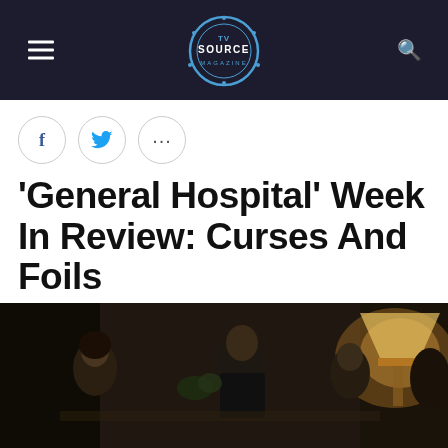TV Source Magazine - Navigation header
'General Hospital' Week In Review: Curses And Foils
JENN BISHOP @HTTP://TWITTER.COM/SOURCEJENN  NOVEMBER 22, 2015 / 8:12 PM  6
[Figure (photo): Scene from General Hospital showing actors in a dimly lit indoor setting with warm lamp light on the right side]